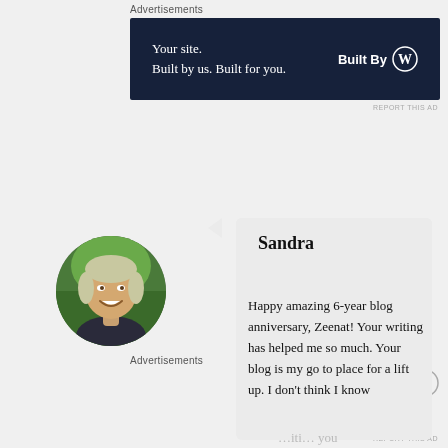Advertisements
[Figure (other): Advertisement banner with dark navy background. Left side: 'Your site. Built by us. Built for you.' Right side: 'Built By' with WordPress logo (W in circle).]
REPORT THIS AD
[Figure (photo): Circular avatar photo of a smiling woman with light hair outdoors.]
Sandra
Happy amazing 6-year blog anniversary, Zeenat! Your writing has helped me so much. Your blog is my go to place for a lift up. I don't think I know
Advertisements
REPORT THIS AD